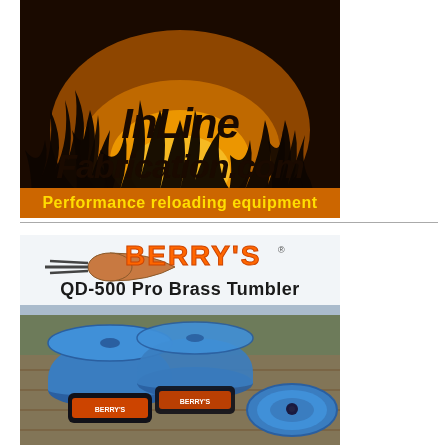[Figure (illustration): InLine Fabrication advertisement with fire/flame background and metal cut-out logo reading 'InLine Fabrication.com' with tagline 'Performance reloading equipment']
[Figure (photo): Berry's QD-500 Pro Brass Tumbler advertisement showing three blue tumbler units with Berry's bullet logo and product name text]